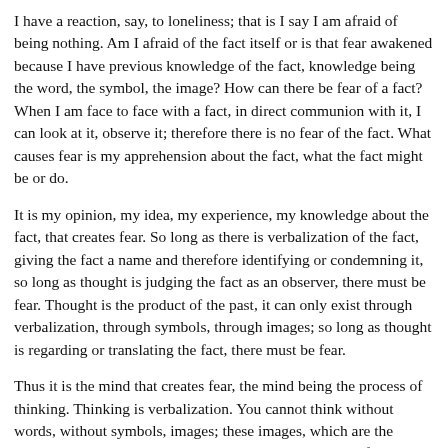I have a reaction, say, to loneliness; that is I say I am afraid of being nothing. Am I afraid of the fact itself or is that fear awakened because I have previous knowledge of the fact, knowledge being the word, the symbol, the image? How can there be fear of a fact? When I am face to face with a fact, in direct communion with it, I can look at it, observe it; therefore there is no fear of the fact. What causes fear is my apprehension about the fact, what the fact might be or do.
It is my opinion, my idea, my experience, my knowledge about the fact, that creates fear. So long as there is verbalization of the fact, giving the fact a name and therefore identifying or condemning it, so long as thought is judging the fact as an observer, there must be fear. Thought is the product of the past, it can only exist through verbalization, through symbols, through images; so long as thought is regarding or translating the fact, there must be fear.
Thus it is the mind that creates fear, the mind being the process of thinking. Thinking is verbalization. You cannot think without words, without symbols, images; these images, which are the prejudices, the previous knowledge, the apprehensions of the mind, are projected upon the fact, and out of that there arises fear. There is freedom from fear only when the mind is capable of looking at the fact without translating it, without giving it a name, a label. This is quite difficult because the feeling, the reaction, always invites the